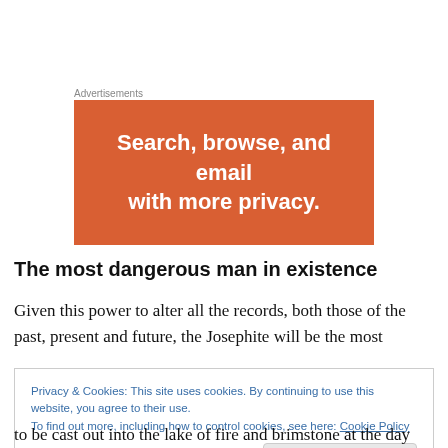Advertisements
[Figure (other): Orange advertisement banner with white bold text reading: Search, browse, and email with more privacy.]
The most dangerous man in existence
Given this power to alter all the records, both those of the past, present and future, the Josephite will be the most
Privacy & Cookies: This site uses cookies. By continuing to use this website, you agree to their use.
To find out more, including how to control cookies, see here: Cookie Policy
to be cast out into the lake of fire and brimstone at the day